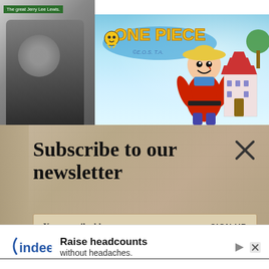[Figure (screenshot): Top section showing two overlapping images: a black-and-white photo of Jerry Lee Lewis on the left with a green label reading 'The great Jerry Lee Lewis.' and a One Piece anime banner on the right showing the One Piece logo, a character (Luffy) in a red outfit with a straw hat, and a Japanese castle/pagoda in background.]
[Figure (screenshot): Newsletter subscription modal overlay on a stone/sand textured background. Contains bold text 'Subscribe to our newsletter', an email input field with placeholder 'Your e-mail address', a 'SIGN UP' button, and an X close button in the top right.]
Your e-mail address
SIGN UP
[Figure (screenshot): Bottom advertisement banner for Indeed showing the Indeed logo and text 'Raise headcounts without headaches.' with a play button icon and X close button. There is also a wavy black line decoration above the ad.]